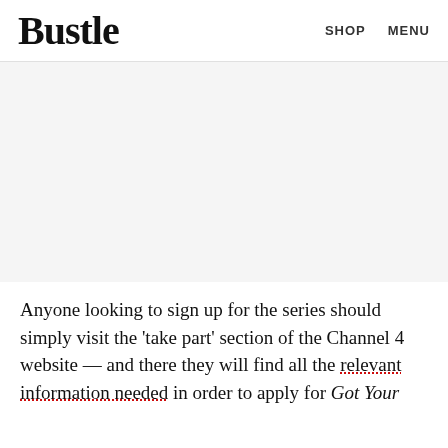Bustle  SHOP  MENU
[Figure (other): Gray advertisement placeholder area]
Anyone looking to sign up for the series should simply visit the 'take part' section of the Channel 4 website — and there they will find all the relevant information needed in order to apply for Got Your